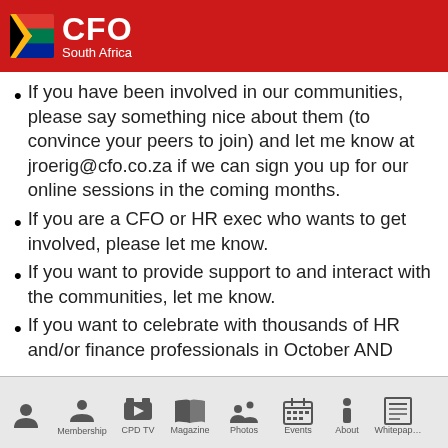CFO South Africa
If you have been involved in our communities, please say something nice about them (to convince your peers to join) and let me know at jroerig@cfo.co.za if we can sign you up for our online sessions in the coming months.
If you are a CFO or HR exec who wants to get involved, please let me know.
If you want to provide support to and interact with the communities, let me know.
If you want to celebrate with thousands of HR and/or finance professionals in October AND
Membership  CPD TV  Magazine  Photos  Events  About  Whitepap…